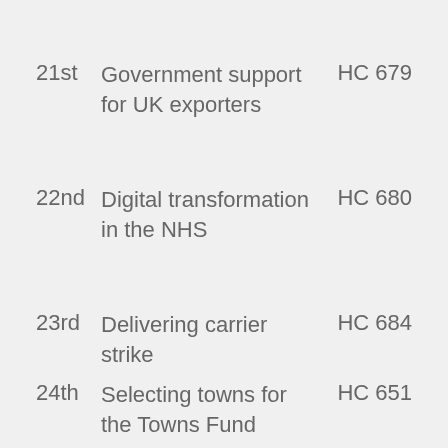21st   Government support for UK exporters   HC 679
22nd   Digital transformation in the NHS   HC 680
23rd   Delivering carrier strike   HC 684
24th   Selecting towns for the Towns Fund   HC 651